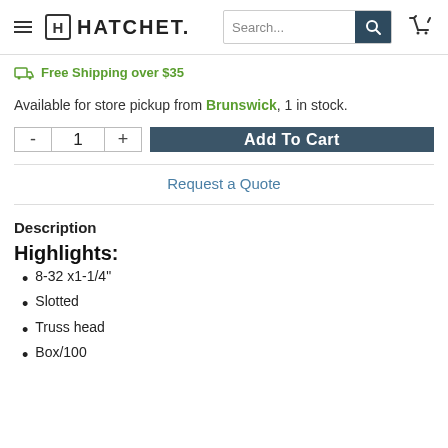HATCHET — Navigation header with search bar and cart icon
Free Shipping over $35
Available for store pickup from Brunswick, 1 in stock.
Quantity: 1 — Add To Cart
Request a Quote
Description
Highlights:
8-32 x1-1/4"
Slotted
Truss head
Box/100